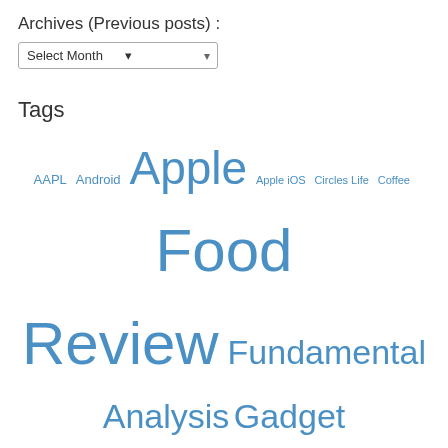Archives (Previous posts) :
Select Month (dropdown)
Tags
AAPL Android Apple Apple iOS Circles Life Coffee Food Review Fundamental Analysis Gadget review gadgets Google Hong Kong ipad iPad 2 iPhone IT Gadget IT Gadget Review IT Gadgets Jailbreak M1 Mobile Phones Oneplus product review Singapore singapore stock market Singapore Stocks Singtel smartphones Smartwatch Software Starhub STI Stock Market Stock Price Stock Prices Stock Stock Review Straits Times Index Tablet Technical Analysis US Stock Market